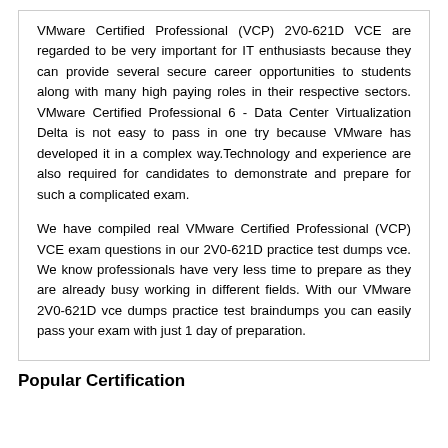VMware Certified Professional (VCP) 2V0-621D VCE are regarded to be very important for IT enthusiasts because they can provide several secure career opportunities to students along with many high paying roles in their respective sectors. VMware Certified Professional 6 - Data Center Virtualization Delta is not easy to pass in one try because VMware has developed it in a complex way.Technology and experience are also required for candidates to demonstrate and prepare for such a complicated exam.
We have compiled real VMware Certified Professional (VCP) VCE exam questions in our 2V0-621D practice test dumps vce. We know professionals have very less time to prepare as they are already busy working in different fields. With our VMware 2V0-621D vce dumps practice test braindumps you can easily pass your exam with just 1 day of preparation.
Popular Certification